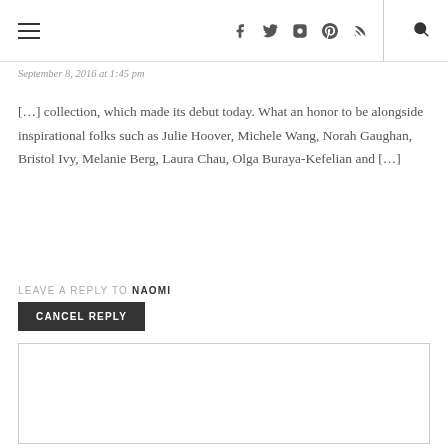☰  f  t  ☷  ⊕  ⊃  🔍
September 8, 2016 at 1:45 pm
[…] collection, which made its debut today. What an honor to be alongside inspirational folks such as Julie Hoover, Michele Wang, Norah Gaughan, Bristol Ivy, Melanie Berg, Laura Chau, Olga Buraya-Kefelian and […]
LEAVE A REPLY TO NAOMI
CANCEL REPLY